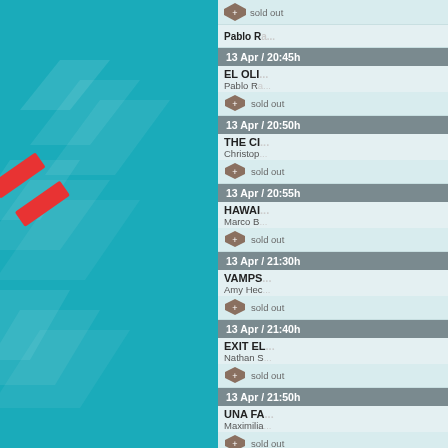[Figure (illustration): Teal background panel with decorative diagonal stripe elements and red accent bars forming a graphic design pattern]
sold out | Pablo Ra...
13 Apr / 20:45h | EL OLI... | Pablo Ra... | sold out
13 Apr / 20:50h | THE CI... | Christop... | sold out
13 Apr / 20:55h | HAWAI... | Marco B... | sold out
13 Apr / 21:30h | VAMPS... | Amy Hec... | sold out
13 Apr / 21:40h | EXIT EL... | Nathan S... | sold out
13 Apr / 21:50h | UNA FA... | Maximilia... | sold out
13 Apr / 22:10h | OH YEA... | Mirjam U... | not available
13 Apr / 23:15h | MATOU... | Júlio Bre... | not available
13 Apr / 23:30h | LA DIS... | Adolfo A... | not available
13 Apr / 23:40h | EL DÍA... | Martín D... | sold out